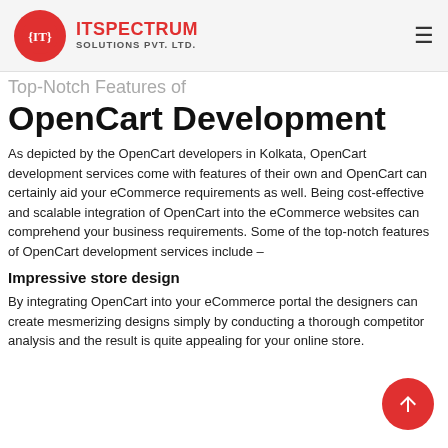ITSPECTRUM SOLUTIONS PVT. LTD.
Top-Notch Features of OpenCart Development
As depicted by the OpenCart developers in Kolkata, OpenCart development services come with features of their own and OpenCart can certainly aid your eCommerce requirements as well. Being cost-effective and scalable integration of OpenCart into the eCommerce websites can comprehend your business requirements. Some of the top-notch features of OpenCart development services include –
Impressive store design
By integrating OpenCart into your eCommerce portal the designers can create mesmerizing designs simply by conducting a thorough competitor analysis and the result is quite appealing for your online store.